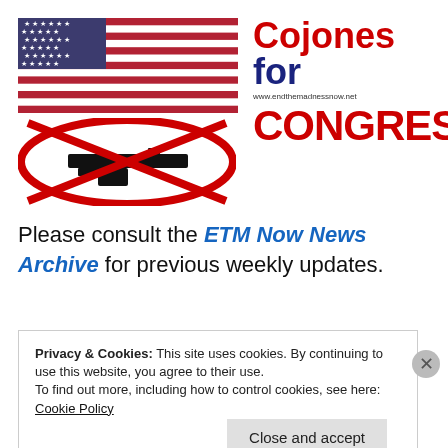[Figure (logo): Cojones for Congress logo with US flag, no-assault-rifle symbol, and text 'Cojones for CONGRESS!' with website www.endthemadnessnow.net]
Please consult the ETM Now News Archive for previous weekly updates.
Privacy & Cookies: This site uses cookies. By continuing to use this website, you agree to their use. To find out more, including how to control cookies, see here: Cookie Policy